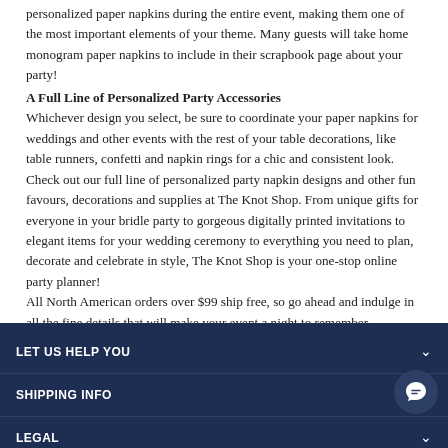personalized paper napkins during the entire event, making them one of the most important elements of your theme. Many guests will take home monogram paper napkins to include in their scrapbook page about your party!
A Full Line of Personalized Party Accessories
Whichever design you select, be sure to coordinate your paper napkins for weddings and other events with the rest of your table decorations, like table runners, confetti and napkin rings for a chic and consistent look. Check out our full line of personalized party napkin designs and other fun favours, decorations and supplies at The Knot Shop. From unique gifts for everyone in your bridle party to gorgeous digitally printed invitations to elegant items for your wedding ceremony to everything you need to plan, decorate and celebrate in style, The Knot Shop is your one-stop online party planner!
All North American orders over $99 ship free, so go ahead and indulge in all the fine details that will make your event a night to remember.
LET US HELP YOU
SHIPPING INFO
LEGAL